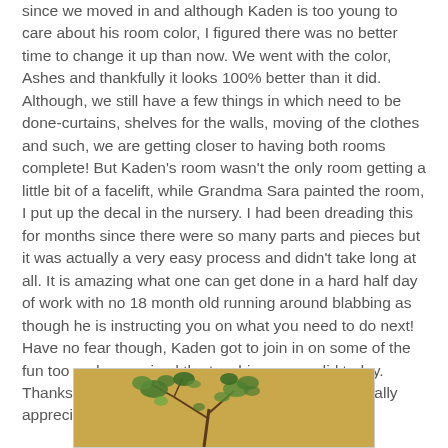since we moved in and although Kaden is too young to care about his room color, I figured there was no better time to change it up than now. We went with the color, Ashes and thankfully it looks 100% better than it did. Although, we still have a few things in which need to be done-curtains, shelves for the walls, moving of the clothes and such, we are getting closer to having both rooms complete! But Kaden's room wasn't the only room getting a little bit of a facelift, while Grandma Sara painted the room, I put up the decal in the nursery. I had been dreading this for months since there were so many parts and pieces but it was actually a very easy process and didn't take long at all. It is amazing what one can get done in a hard half day of work with no 18 month old running around blabbing as though he is instructing you on what you need to do next! Have no fear though, Kaden got to join in on some of the fun too and supervised the touching up we did today. Thanks for all your hard work Grandma Sara, we really appreciate it and love you so much!!
[Figure (photo): Partial photo of a decorative tree decal on a golden/tan wall background, showing green leafy branches at the bottom of the image.]